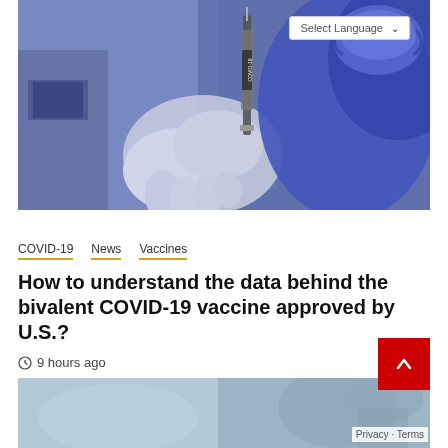[Figure (photo): Healthcare worker in blue PPE and white gloves holding a COVID-19 vaccine syringe. Blue-toned medical setting.]
COVID-19  News  Vaccines
How to understand the data behind the bivalent COVID-19 vaccine approved by U.S.?
9 hours ago
[Figure (photo): Partial view of a second article image showing a medical/healthcare scene in blue-grey tones.]
Privacy · Terms